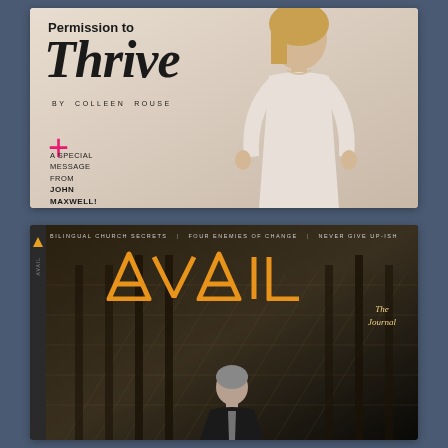[Figure (other): Top magazine cover: 'Permission to Thrive' by Colleen Rouse, featuring a blonde woman in a white blouse, with a pink plus sign and text 'A Special Message from John Maxwell!']
[Figure (other): Bottom magazine cover: AVAIL The Journal, dark background with orange large letters 'AVAIL', subtitle bar reading 'Bilingual Church Secrets | Four Enemies of Change | Never Give Up-ish', man visible at bottom center]